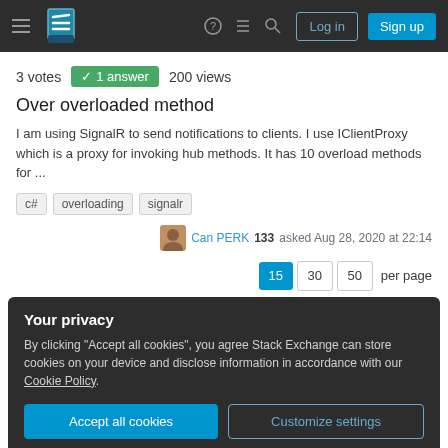Stack Exchange navigation bar with hamburger menu, logo, help, chat, search icons, Log in and Sign up buttons
3 votes  ✓ 1 answer  200 views
Over overloaded method
I am using SignalR to send notifications to clients. I use IClientProxy which is a proxy for invoking hub methods. It has 10 overload methods for ...
c#
overloading
signalr
Can PERK 133 asked Aug 28, 2020 at 22:14
15  30  50  per page
Your privacy
By clicking "Accept all cookies", you agree Stack Exchange can store cookies on your device and disclose information in accordance with our Cookie Policy.
Accept all cookies  Customize settings
The last technical interview you'll ever take (Ep. 474)